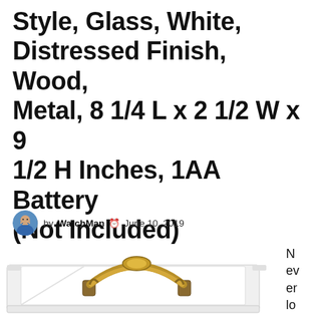Style, Glass, White, Distressed Finish, Wood, Metal, 8 1/4 L x 2 1/2 W x 9 1/2 H Inches, 1AA Battery (Not Included)
by WatchMan  June 10, 2019
[Figure (photo): Top view of a white distressed finish decorative box with an ornate antique brass/gold handle in the center, glass panel lid visible, sitting on a white surface. Partial text 'Never lose' visible on the right side.]